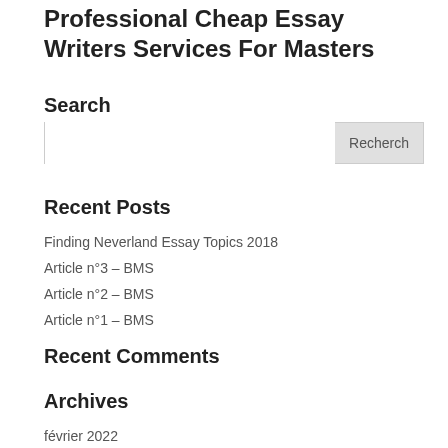Professional Cheap Essay Writers Services For Masters
Search
Recent Posts
Finding Neverland Essay Topics 2018
Article n°3 – BMS
Article n°2 – BMS
Article n°1 – BMS
Recent Comments
Archives
février 2022